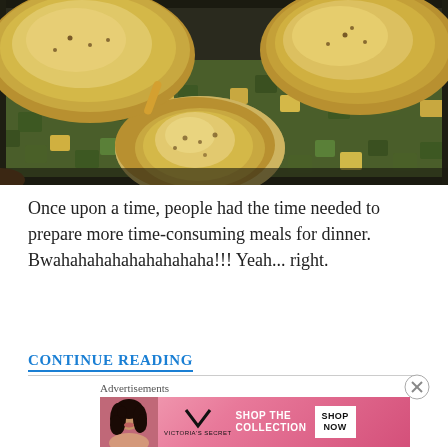[Figure (photo): Close-up photo of seasoned roasted chicken pieces in a dark roasting pan with chopped zucchini and yellow squash vegetables]
Once upon a time, people had the time needed to prepare more time-consuming meals for dinner. Bwahahahahahahahahaha!!! Yeah... right.
CONTINUE READING
Advertisements
[Figure (other): Victoria's Secret advertisement banner with model, VS logo, 'SHOP THE COLLECTION' text and 'SHOP NOW' button]